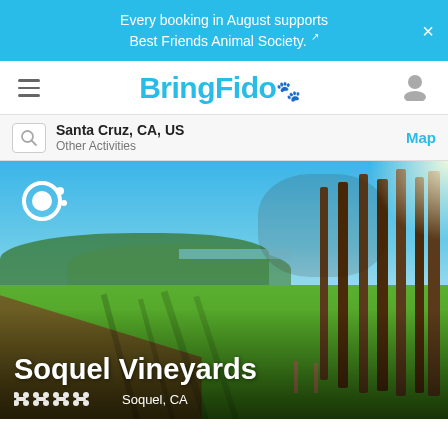Every booking in August supports Best Friends Animal Society.
BringFido
Santa Cruz, CA, US
Other Activities
Map
[Figure (photo): Panoramic view of Soquel Vineyards showing vineyard rows, green grass, tall bare trees, and blue sky on a sunny day. A BringFido loading spinner icon is shown in the upper left corner.]
Soquel Vineyards
Soquel, CA